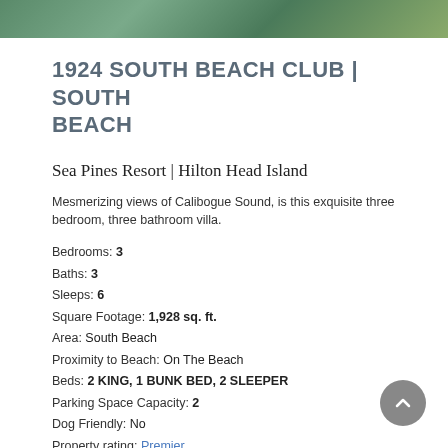[Figure (photo): Outdoor scenic photo banner at top of page]
1924 SOUTH BEACH CLUB | SOUTH BEACH
Sea Pines Resort | Hilton Head Island
Mesmerizing views of Calibogue Sound, is this exquisite three bedroom, three bathroom villa.
Bedrooms: 3
Baths: 3
Sleeps: 6
Square Footage: 1,928 sq. ft.
Area: South Beach
Proximity to Beach: On The Beach
Beds: 2 KING, 1 BUNK BED, 2 SLEEPER
Parking Space Capacity: 2
Dog Friendly: No
Property rating: Premier